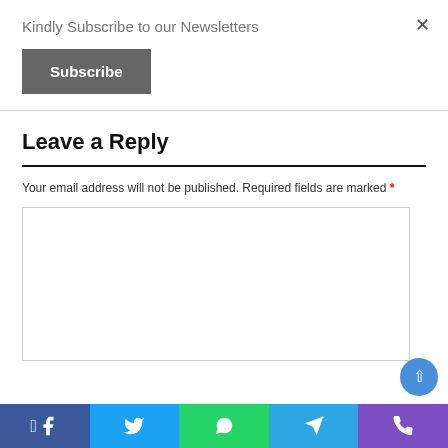Kindly Subscribe to our Newsletters
Subscribe
Leave a Reply
Your email address will not be published. Required fields are marked *